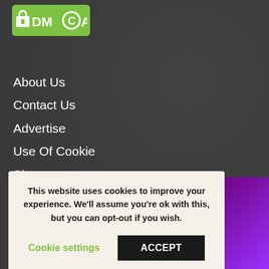[Figure (logo): DMCA logo — green rounded rectangle with white lock icon and DMCA text]
About Us
Contact Us
Advertise
Use Of Cookie
Sitemap
This website uses cookies to improve your experience. We'll assume you're ok with this, but you can opt-out if you wish.
Cookie settings    ACCEPT